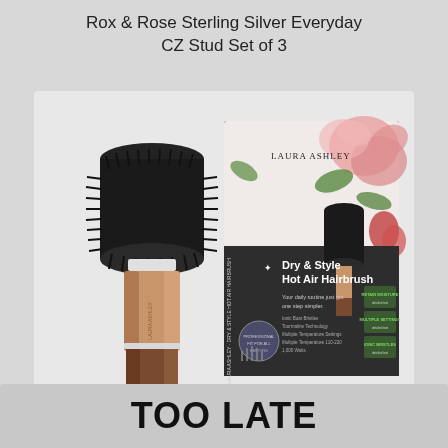Rox & Rose Sterling Silver Everyday CZ Stud Set of 3
[Figure (photo): Laura Ashley Dry & Style Hot Air Hairbrush product shown beside its retail box. The brush has a rose gold/champagne handle with a round black bristle head. The box features a floral design with the Laura Ashley brand name, and text reading 'Dry & Style Hot Air Hairbrush' and 'Your daily routine just got one step simpler.' with feature callouts including Retain Moisture, Multiple Settings, Ionic Bristles.]
TOO LATE